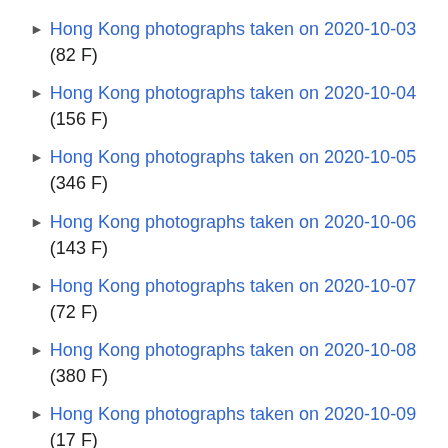Hong Kong photographs taken on 2020-10-03 (82 F)
Hong Kong photographs taken on 2020-10-04 (156 F)
Hong Kong photographs taken on 2020-10-05 (346 F)
Hong Kong photographs taken on 2020-10-06 (143 F)
Hong Kong photographs taken on 2020-10-07 (72 F)
Hong Kong photographs taken on 2020-10-08 (380 F)
Hong Kong photographs taken on 2020-10-09 (17 F)
Hong Kong photographs taken on 2020-10-10 (90 F)
Hong Kong photographs taken on 2020-10-11 (24 F)
Hong Kong photographs taken on 2020-10-12 (351